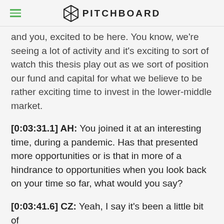PITCHBOARD
and you, excited to be here. You know, we're seeing a lot of activity and it's exciting to sort of watch this thesis play out as we sort of position our fund and capital for what we believe to be rather exciting time to invest in the lower-middle market.
[0:03:31.1] AH: You joined it at an interesting time, during a pandemic. Has that presented more opportunities or is that in more of a hindrance to opportunities when you look back on your time so far, what would you say?
[0:03:41.6] CZ: Yeah, I say it's been a little bit of